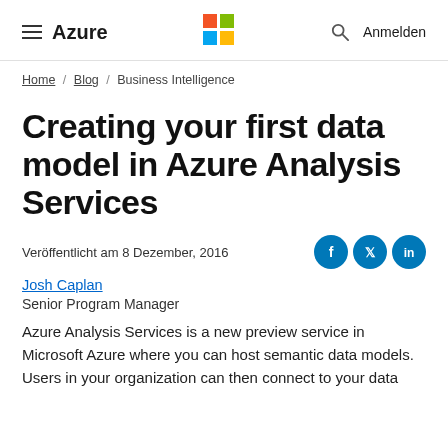≡ Azure | Microsoft Logo | 🔍 Anmelden
Home / Blog / Business Intelligence
Creating your first data model in Azure Analysis Services
Veröffentlicht am 8 Dezember, 2016
Josh Caplan
Senior Program Manager
Azure Analysis Services is a new preview service in Microsoft Azure where you can host semantic data models. Users in your organization can then connect to your data